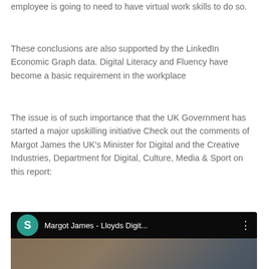employee is going to need to have virtual work skills to do so.
These conclusions are also supported by the LinkedIn Economic Graph data. Digital Literacy and Fluency have become a basic requirement in the workplace
The issue is of such importance that the UK Government has started a major upskilling initiative Check out the comments of Margot James the UK’s Minister for Digital and the Creative Industries, Department for Digital, Culture, Media & Sport on this report:
[Figure (screenshot): YouTube video embed showing a woman with glasses. Title bar reads 'Margot James - Lloyds Digit...' with a teal avatar circle showing 'S' on the left and a three-dot menu on the right. A play button is centered over the video thumbnail.]